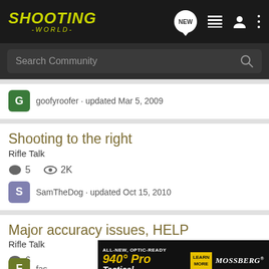SHOOTING WORLD
Search Community
goofyroofer · updated Mar 5, 2009
Shooting to the right
Rifle Talk
5  2K
SamTheDog · updated Oct 15, 2010
Major accuracy issues, HELP
Rifle Talk
6
fas...
[Figure (photo): Advertisement for Mossberg 940 Pro Tactical shotgun, all-new optic-ready, with Learn More button]